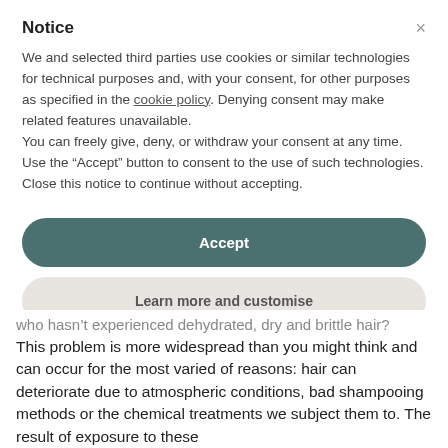Notice
We and selected third parties use cookies or similar technologies for technical purposes and, with your consent, for other purposes as specified in the cookie policy. Denying consent may make related features unavailable.
You can freely give, deny, or withdraw your consent at any time.
Use the “Accept” button to consent to the use of such technologies. Close this notice to continue without accepting.
Accept
Learn more and customise
who hasn’t experienced dehydrated, dry and brittle hair? This problem is more widespread than you might think and can occur for the most varied of reasons: hair can deteriorate due to atmospheric conditions, bad shampooing methods or the chemical treatments we subject them to. The result of exposure to these